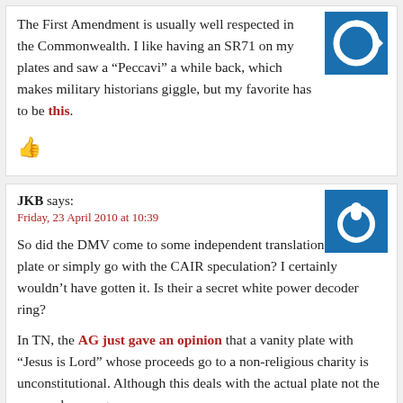The First Amendment is usually well respected in the Commonwealth. I like having an SR71 on my plates and saw a “Peccavi” a while back, which makes military historians giggle, but my favorite has to be this.
[Figure (illustration): Blue square avatar with white circular arrow/refresh icon, top right of first comment]
[Figure (illustration): Thumbs up icon in dark red/maroon color]
JKB says:
Friday, 23 April 2010 at 10:39
[Figure (illustration): Blue square avatar with white power button icon, top right of second comment]
So did the DMV come to some independent translation of the plate or simply go with the CAIR speculation? I certainly wouldn’t have gotten it. Is their a secret white power decoder ring?
In TN, the AG just gave an opinion that a vanity plate with “Jesus is Lord” whose proceeds go to a non-religious charity is unconstitutional. Although this deals with the actual plate not the personal message.